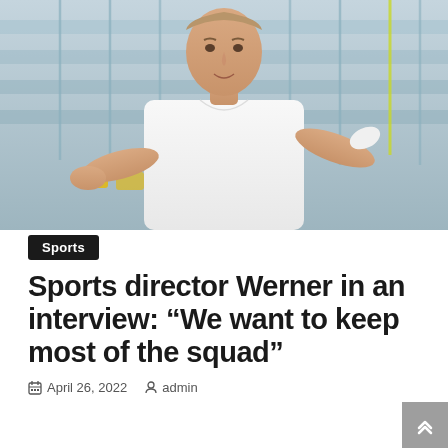[Figure (photo): A man in a white t-shirt sitting at what appears to be a stadium or sports facility, speaking and gesturing with his hands. The background shows stadium fencing and bleachers.]
Sports
Sports director Werner in an interview: “We want to keep most of the squad”
April 26, 2022   admin